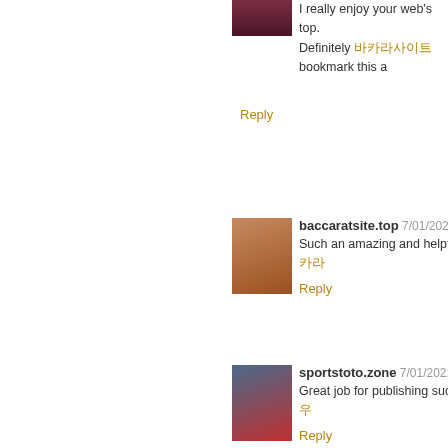I really enjoy your web's top. Definitely 바카라사이트 bookmark this a
Reply
baccaratsite.top 7/01/2021 10:4
Such an amazing and helpful 바카라
Reply
sportstoto.zone 7/01/2021 10:4
Great job for publishing such a 우
Reply
baccaratsite.biz 7/01/2021 10:5
I do agree with all of the ideas 바
Reply
bamgosoocom 7/01/2021 10:47
Elisha is how I'm called but I by